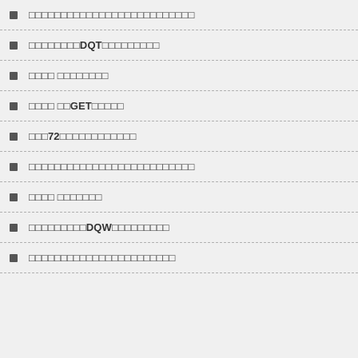□□□□□□□□□□□□□□□□□□□□□□□□□□
□□□□□□□□DQT□□□□□□□□□
□□□□ □□□□□□□□
□□□□ □□GET□□□□□
□□□72□□□□□□□□□□□□
□□□□□□□□□□□□□□□□□□□□□□□□□□
□□□□ □□□□□□□
□□□□□□□□□DQW□□□□□□□□□
□□□□□□□□□□□□□□□□□□□□□□□